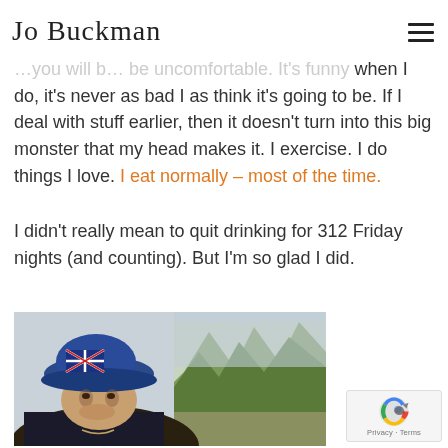Jo Buckman
going to bite me on the arse later, so it's best to bring it … you will b… be uncomfortable. It's funny, when I do, it's never as bad I as think it's going to be. If I deal with stuff earlier, then it doesn't turn into this big monster that my head makes it. I exercise. I do things I love. I eat normally – most of the time.
I didn't really mean to quit drinking for 312 Friday nights (and counting). But I'm so glad I did.
[Figure (photo): Woman wearing a blue Australian flag bucket hat, photographed outdoors with trees and bush in the background.]